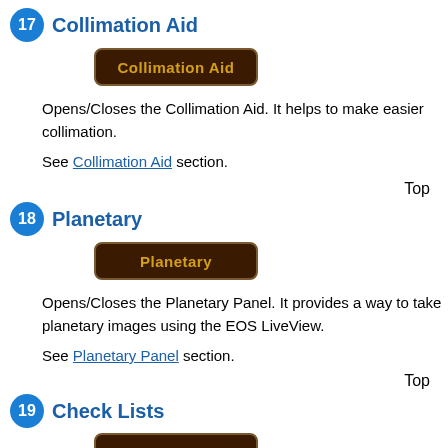17 Collimation Aid
[Figure (screenshot): Dark brown button with orange text reading 'Collimation Aid']
Opens/Closes the Collimation Aid. It helps to make easier collimation.
See Collimation Aid section.
Top
18 Planetary
[Figure (screenshot): Dark brown button with orange text reading 'Planetary']
Opens/Closes the Planetary Panel. It provides a way to take planetary images using the EOS LiveView.
See Planetary Panel section.
Top
19 Check Lists
[Figure (screenshot): Dark brown button partially visible at bottom]